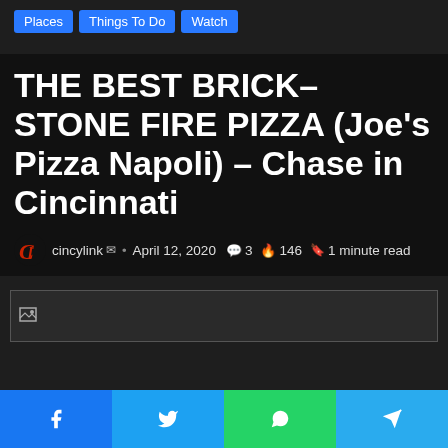Places
Things To Do
Watch
THE BEST BRICK–STONE FIRE PIZZA (Joe's Pizza Napoli) – Chase in Cincinnati
cincylink  •  April 12, 2020   3   146   1 minute read
[Figure (photo): Broken image placeholder in dark area]
[Figure (other): Share buttons bar: Facebook, Twitter, WhatsApp, Telegram]